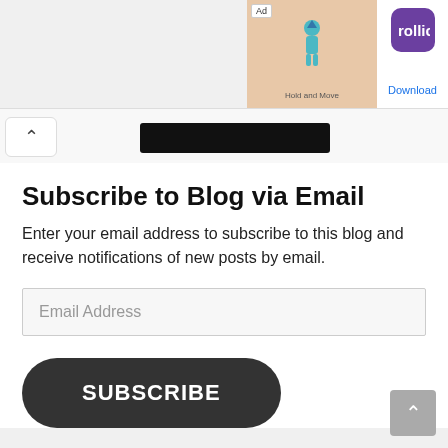[Figure (screenshot): Ad banner in top right: game screenshot labeled 'Ad' showing 'Hold and Move' game with a character, beside a purple Rollic app icon and 'Download' link]
[Figure (screenshot): Navigation bar with back chevron button on left and a black redacted/blurred bar in the center]
Subscribe to Blog via Email
Enter your email address to subscribe to this blog and receive notifications of new posts by email.
Email Address
SUBSCRIBE